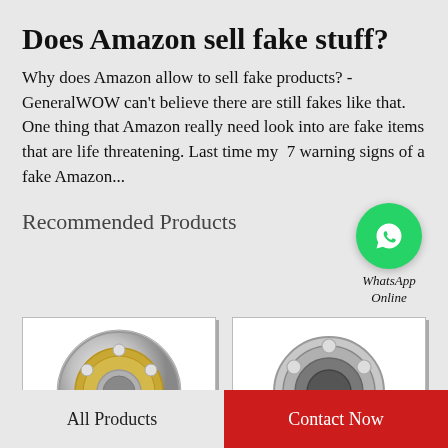Does Amazon sell fake stuff?
Why does Amazon allow to sell fake products? - GeneralWOW can't believe there are still fakes like that. One thing that Amazon really need look into are fake items that are life threatening. Last time my  7 warning signs of a fake Amazon...
Recommended Products
[Figure (logo): WhatsApp green circle logo icon with phone handset, labeled WhatsApp Online]
[Figure (photo): Photo of a gold and silver ball bearing (angular contact bearing) in a product card frame]
[Figure (photo): Photo of a silver/chrome ball bearing in a product card frame]
All Products
Contact Now